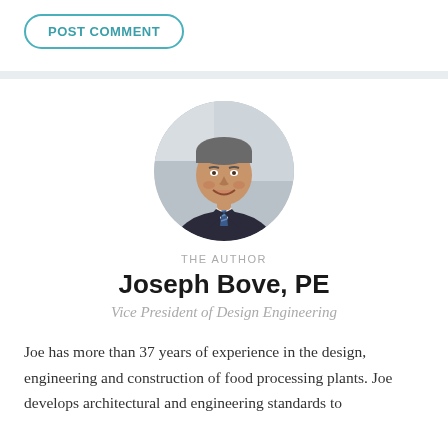POST COMMENT
[Figure (photo): Circular cropped headshot of Joseph Bove, a middle-aged man in a dark suit and blue tie, smiling, with a blurred office background.]
THE AUTHOR
Joseph Bove, PE
Vice President of Design Engineering
Joe has more than 37 years of experience in the design, engineering and construction of food processing plants. Joe develops architectural and engineering standards to